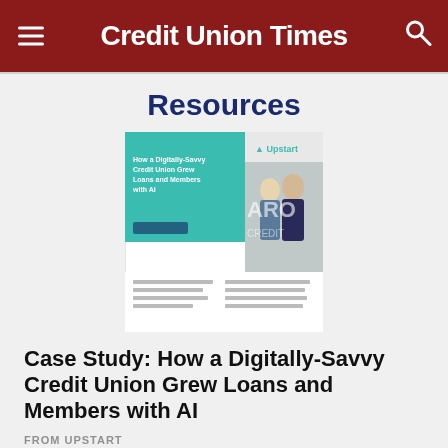Credit Union Times
Resources
[Figure (illustration): Document cover of the Upstart case study titled 'How a Digitally-Savvy Credit Union Grew Loans and Members with AI', showing two business professionals standing in front of a credit union sign.]
Case Study: How a Digitally-Savvy Credit Union Grew Loans and Members with AI
FROM UPSTART
Download Resource ›